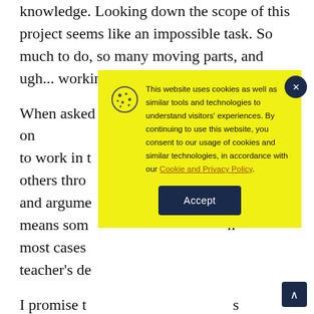knowledge. Looking down the scope of this project seems like an impossible task. So much to do, so many moving parts, and ugh... working in t
When asked number one to work in t others thro and argume means som most cases teacher's de
I promise t roll and not Then the Kanban board is revealed.
[Figure (screenshot): Cookie consent popup overlay with yellow background. Contains a cookie icon, text reading 'This website uses cookies as well as similar tools and technologies to understand visitors' experiences. By continuing to use this website, you consent to our usage of cookies and similar technologies, in accordance with our Cookie and Privacy Policy.' with an Accept button and a close (x) button in the top right corner in dark navy.]